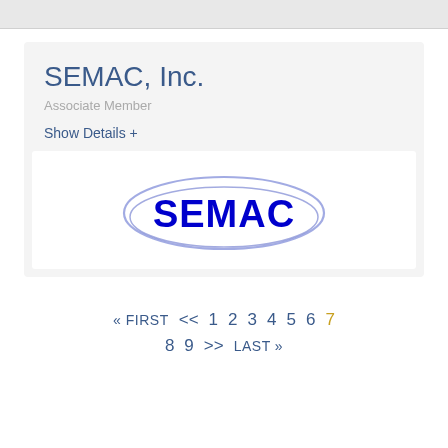SEMAC, Inc.
Associate Member
Show Details +
[Figure (logo): SEMAC logo: bold blue text 'SEMAC' inside a blue oval/ellipse outline on white background]
« FIRST  <<  1  2  3  4  5  6  7  8  9  >>  LAST »